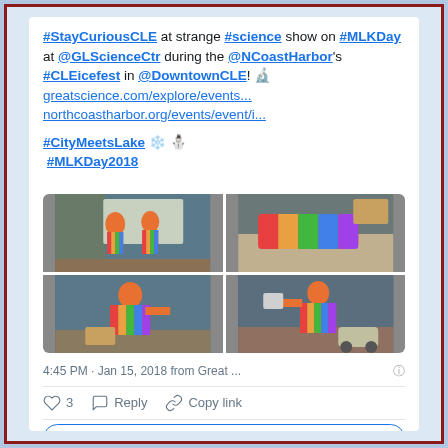#StayCuriousCLE at strange #science show on #MLKDay at @GLScienceCtr during the @NCoastHarbor's #CLEicefest in @DowntownCLE! 🔬 greatscience.com/explore/events... northcoastharbor.org/events/event/i...
#CityMeetsLake ❄️ ⛄ #MLKDay2018
[Figure (photo): Four-panel photo grid showing people in colorful rainbow costumes performing a science show]
4:45 PM · Jan 15, 2018 from Great ...
♡ 3   Reply   Copy link
Explore what's happening on Twitter